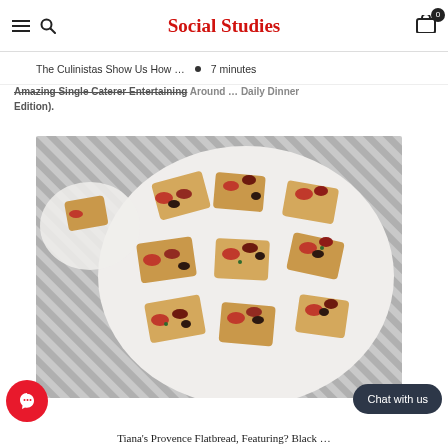Social Studies
The Culinistas Show Us How ... • 7 minutes
Amazing Single Caterer Entertaining Around … Daily Dinner Edition).
[Figure (photo): Flatbread pieces topped with cherry tomatoes and black olives on a round white plate, on a striped background]
Tiana's Provence Flatbread, Featuring? Black …